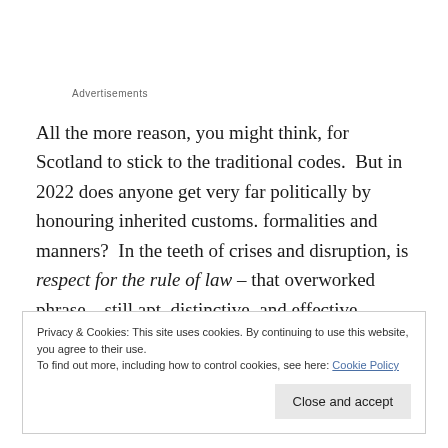Advertisements
All the more reason, you might think, for Scotland to stick to the traditional codes.  But in 2022 does anyone get very far politically by honouring inherited customs. formalities and manners?  In the teeth of crises and disruption, is respect for the rule of law – that overworked phrase – still apt, distinctive, and effective enough to cut through and change anything?
Privacy & Cookies: This site uses cookies. By continuing to use this website, you agree to their use.
To find out more, including how to control cookies, see here: Cookie Policy